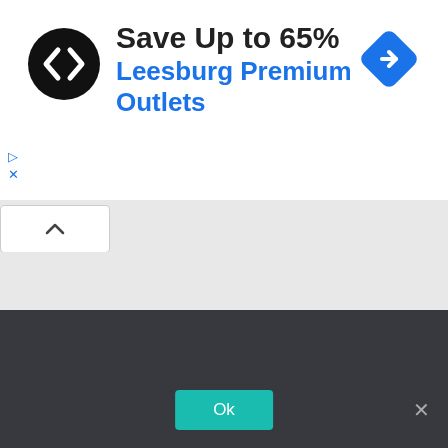[Figure (logo): Black circular logo with two overlapping arrows/chevrons in white]
Save Up to 65%
Leesburg Premium Outlets
[Figure (illustration): Blue diamond navigation arrow icon pointing right]
[Figure (screenshot): Gray map area with a white tab showing an upward caret/chevron symbol]
We use cookies to ensure that we give you the best experience on our website. If you continue to use this site we will assume that you are happy with it.